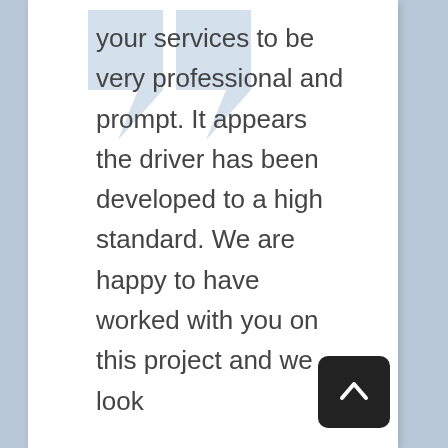[Figure (illustration): Large decorative quotation mark watermark in light blue/grey, positioned at top of card]
your services to be very professional and prompt. It appears the driver has been developed to a high standard. We are happy to have worked with you on this project and we look
[Figure (other): Dark square scroll-to-top button with upward chevron arrow, positioned bottom right]